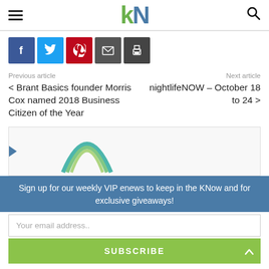kN logo with hamburger menu and search icon
[Figure (logo): kN logo - k in green, N in blue, large bold sans-serif]
[Figure (infographic): Social sharing buttons: Facebook (blue), Twitter (light blue), Pinterest (red), Email (dark gray), Print (dark gray)]
Previous article
Next article
< Brant Basics founder Morris Cox named 2018 Business Citizen of the Year
nightlifeNOW – October 18 to 24 >
[Figure (illustration): Partial image with rainbow/arc logo visible at bottom]
Sign up for our weekly VIP enews to keep in the KNow and for exclusive giveaways!
Your email address..
SUBSCRIBE